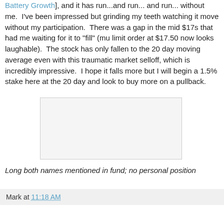Battery Growth], and it has run...and run... and run... without me.  I've been impressed but grinding my teeth watching it move without my participation.  There was a gap in the mid $17s that had me waiting for it to "fill" (mu limit order at $17.50 now looks laughable).  The stock has only fallen to the 20 day moving average even with this traumatic market selloff, which is incredibly impressive.  I hope it falls more but I will begin a 1.5% stake here at the 20 day and look to buy more on a pullback.
[Figure (other): Blank/placeholder image box with light gray background and border]
Long both names mentioned in fund; no personal position
Mark at 11:18 AM